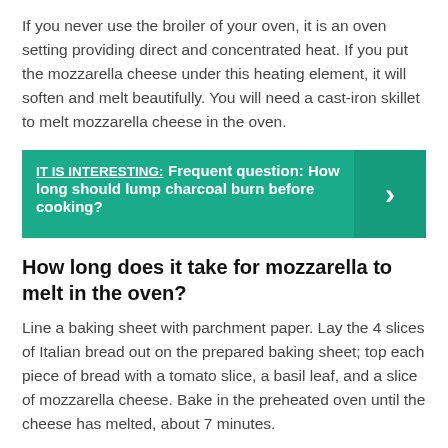If you never use the broiler of your oven, it is an oven setting providing direct and concentrated heat. If you put the mozzarella cheese under this heating element, it will soften and melt beautifully. You will need a cast-iron skillet to melt mozzarella cheese in the oven.
[Figure (infographic): Teal callout box with text 'IT IS INTERESTING: Frequent question: How long should lump charcoal burn before cooking?' and a right-pointing chevron arrow on the right side in a darker teal panel.]
How long does it take for mozzarella to melt in the oven?
Line a baking sheet with parchment paper. Lay the 4 slices of Italian bread out on the prepared baking sheet; top each piece of bread with a tomato slice, a basil leaf, and a slice of mozzarella cheese. Bake in the preheated oven until the cheese has melted, about 7 minutes.
Can you eat mozzarella raw?